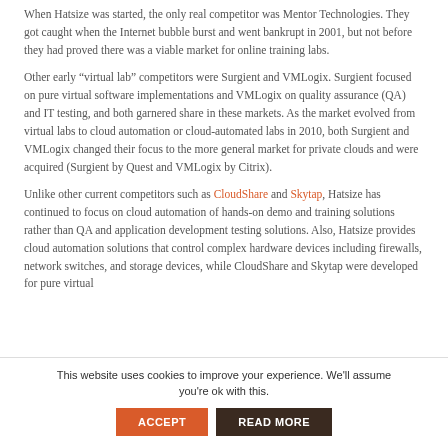When Hatsize was started, the only real competitor was Mentor Technologies. They got caught when the Internet bubble burst and went bankrupt in 2001, but not before they had proved there was a viable market for online training labs.
Other early “virtual lab” competitors were Surgient and VMLogix. Surgient focused on pure virtual software implementations and VMLogix on quality assurance (QA) and IT testing, and both garnered share in these markets. As the market evolved from virtual labs to cloud automation or cloud-automated labs in 2010, both Surgient and VMLogix changed their focus to the more general market for private clouds and were acquired (Surgient by Quest and VMLogix by Citrix).
Unlike other current competitors such as CloudShare and Skytap, Hatsize has continued to focus on cloud automation of hands-on demo and training solutions rather than QA and application development testing solutions. Also, Hatsize provides cloud automation solutions that control complex hardware devices including firewalls, network switches, and storage devices, while CloudShare and Skytap were developed for pure virtual
This website uses cookies to improve your experience. We'll assume you're ok with this.